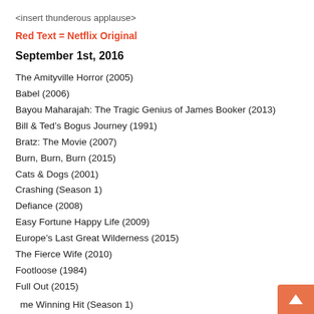<insert thunderous applause>
Red Text = Netflix Original
September 1st, 2016
The Amityville Horror (2005)
Babel (2006)
Bayou Maharajah: The Tragic Genius of James Booker (2013)
Bill & Ted's Bogus Journey (1991)
Bratz: The Movie (2007)
Burn, Burn, Burn (2015)
Cats & Dogs (2001)
Crashing (Season 1)
Defiance (2008)
Easy Fortune Happy Life (2009)
Europe's Last Great Wilderness (2015)
The Fierce Wife (2010)
Footloose (1984)
Full Out (2015)
Game Winning Hit (Season 1)